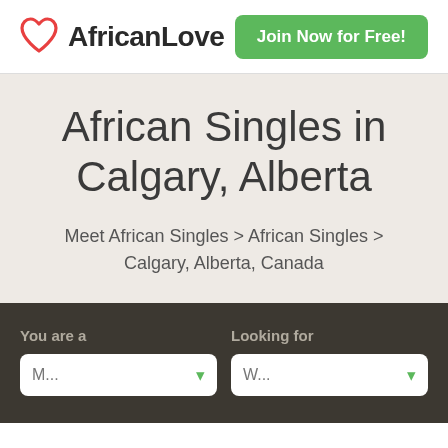AfricanLove | Join Now for Free!
African Singles in Calgary, Alberta
Meet African Singles > African Singles > Calgary, Alberta, Canada
You are a
Looking for